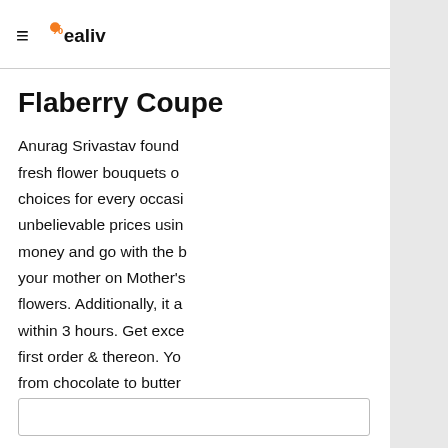Dealiv (logo/header)
Flaberry Coupe
Anurag Srivastav found fresh flower bouquets choices for every occasi unbelievable prices usin money and go with the b your mother on Mother's flowers. Additionally, it a within 3 hours. Get exce first order & thereon. Yo from chocolate to butter So hurry up. Don't miss t